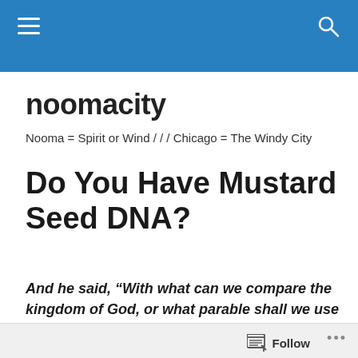noomacity site header bar with hamburger menu and search icon
noomacity
Nooma = Spirit or Wind / / / Chicago = The Windy City
Do You Have Mustard Seed DNA?
And he said, “With what can we compare the kingdom of God, or what parable shall we use for it?  It is like a grain of mustard seed, which, when sown on the ground, is the smallest of all the seeds on earth, yet when it is sown it grows up and becomes larger than
Follow •••